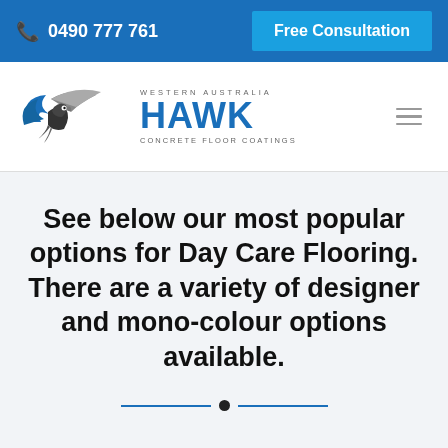📞 0490 777 761   Free Consultation
[Figure (logo): Western Australia Hawk Concrete Floor Coatings logo with eagle graphic]
See below our most popular options for Day Care Flooring. There are a variety of designer and mono-colour options available.